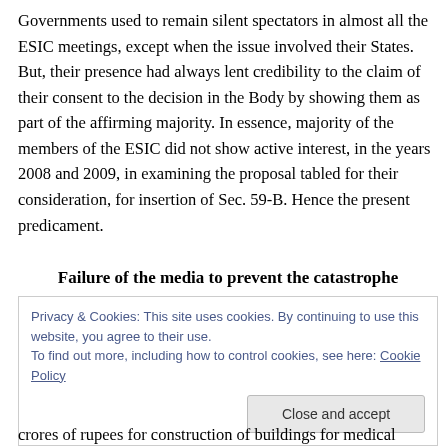Governments used to remain silent spectators in almost all the ESIC meetings, except when the issue involved their States. But, their presence had always lent credibility to the claim of their consent to the decision in the Body by showing them as part of the affirming majority. In essence, majority of the members of the ESIC did not show active interest, in the years 2008 and 2009, in examining the proposal tabled for their consideration, for insertion of Sec. 59-B. Hence the present predicament.
Failure of the media to prevent the catastrophe
Privacy & Cookies: This site uses cookies. By continuing to use this website, you agree to their use.
To find out more, including how to control cookies, see here: Cookie Policy
crores of rupees for construction of buildings for medical